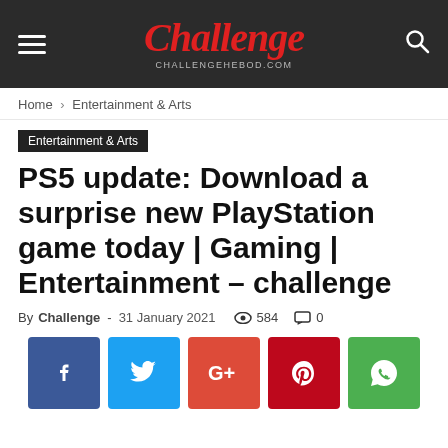Challenge — challengehebod.com
Home › Entertainment & Arts
Entertainment & Arts
PS5 update: Download a surprise new PlayStation game today | Gaming | Entertainment – challenge
By Challenge - 31 January 2021  584  0
[Figure (infographic): Social share buttons: Facebook (blue), Twitter (light blue), Google+ (orange-red), Pinterest (dark red), WhatsApp (green)]